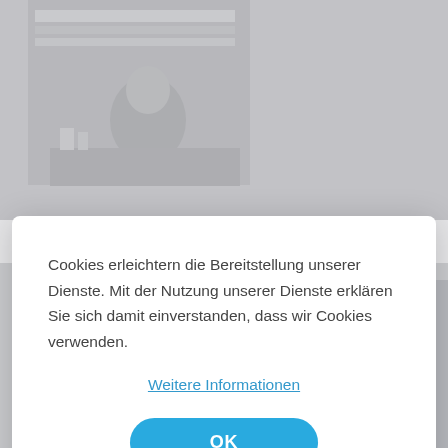[Figure (screenshot): Background page with a photo of a person at a desk (top) and an article text excerpt about Sant Marti d'Empuries (bottom), partially obscured by a cookie consent modal overlay.]
Cookies erleichtern die Bereitstellung unserer Dienste. Mit der Nutzung unserer Dienste erklären Sie sich damit einverstanden, dass wir Cookies verwenden.
Weitere Informationen
OK